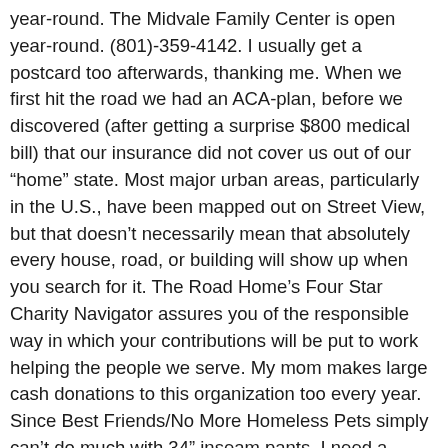year-round. The Midvale Family Center is open year-round. (801)-359-4142. I usually get a postcard too afterwards, thanking me. When we first hit the road we had an ACA-plan, before we discovered (after getting a surprise $800 medical bill) that our insurance did not cover us out of our “home” state. Most major urban areas, particularly in the U.S., have been mapped out on Street View, but that doesn’t necessarily mean that absolutely every house, road, or building will show up when you search for it. The Road Home’s Four Star Charity Navigator assures you of the responsible way in which your contributions will be put to work helping the people we serve. My mom makes large cash donations to this organization too every year. Since Best Friends/No More Homeless Pets simply can’t do much with 34” inseam pants, I need a place to donate goods for humans. The guide presents info from a number of reputable sources to provide you with the most reliable and accessible tools to enable you to make the right home purchase decision. South Salt Lake, UT 84119 private non-profit social services